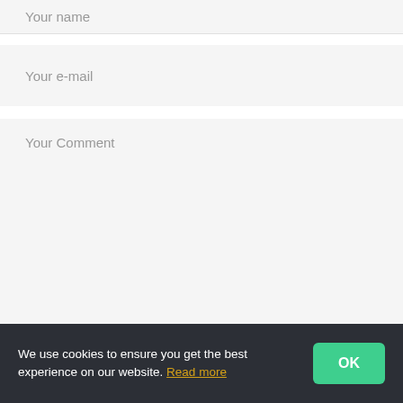Your name
Your e-mail
Your Comment
Please enter an answer in digits:
11 – ten =
We use cookies to ensure you get the best experience on our website. Read more